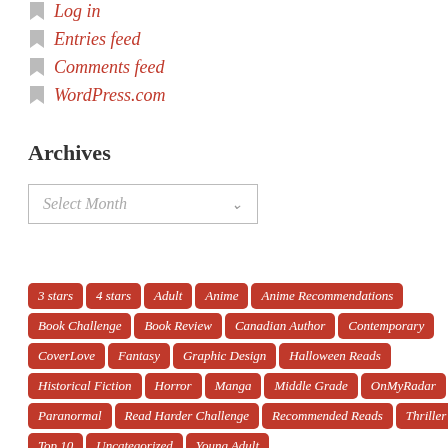Log in
Entries feed
Comments feed
WordPress.com
Archives
Select Month
3 stars 4 stars Adult Anime Anime Recommendations Book Challenge Book Review Canadian Author Contemporary CoverLove Fantasy Graphic Design Halloween Reads Historical Fiction Horror Manga Middle Grade OnMyRadar Paranormal Read Harder Challenge Recommended Reads Thriller Top 10 Uncategorized Young Adult